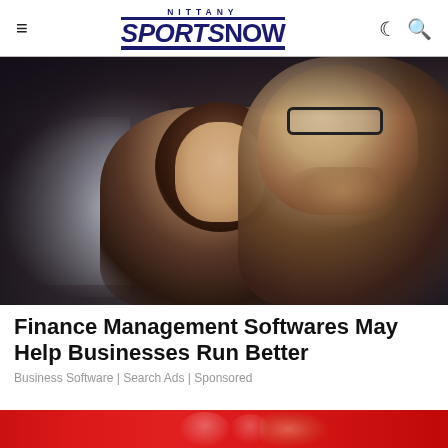NITTANY SPORTS NOW
[Figure (photo): Two people, a woman and a man with glasses and a beard, looking at a laptop screen together in a dimly lit office setting.]
Finance Management Softwares May Help Businesses Run Better
Business Software | Search Ads | Sponsored
[Figure (photo): Partial teaser image strip at bottom of page, appears to show sports-related content with red background.]